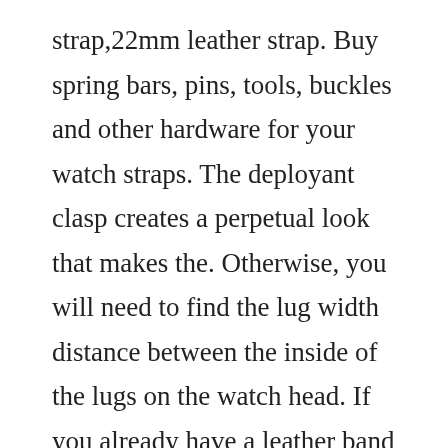strap,22mm leather strap. Buy spring bars, pins, tools, buckles and other hardware for your watch straps. The deployant clasp creates a perpetual look that makes the. Otherwise, you will need to find the lug width distance between the inside of the lugs on the watch head. If you already have a leather band for the watch in question, you can check the back to see if it has a size imprint, shown in millimeters. Leather handmade mens watch strap 18mm 20mm 22mm 24mm 26mm watch. Watch band hardware from barton watch band...Buy 23mm...